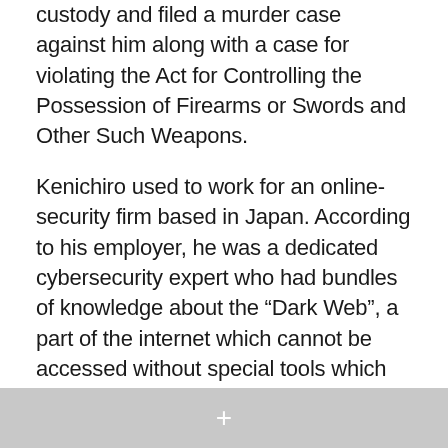custody and filed a murder case against him along with a case for violating the Act for Controlling the Possession of Firearms or Swords and Other Such Weapons.
Kenichiro used to work for an online-security firm based in Japan. According to his employer, he was a dedicated cybersecurity expert who had bundles of knowledge about the “Dark Web”, a part of the internet which cannot be accessed without special tools which ensure anonymity. People have come out to sympathize with the deceased, including a renowned journalist Daisuke Tsuda, who said, “How could this have happened?”.
+